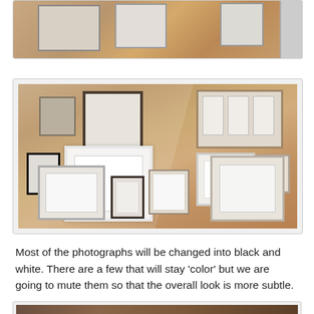[Figure (photo): Partial top view of picture frames displayed on a wooden wall, cropped at top of page]
[Figure (photo): A collection of various picture frames in different sizes and colors (dark brown, taupe, white, silver) arranged on a wooden plank wall, all frames are empty showing white mats]
Most of the photographs will be changed into black and white. There are a few that will stay 'color' but we are going to mute them so that the overall look is more subtle.
[Figure (photo): Partial bottom view of a photo, cropped at bottom of page, showing a darker wooden surface]